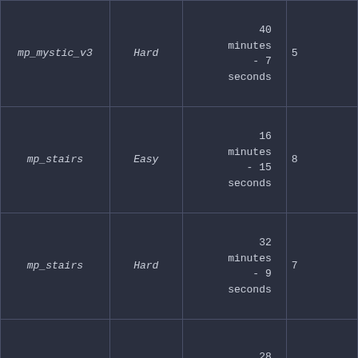| mp_mystic_v3 | Hard | 40 minutes - 7 seconds | 5 |
| mp_stairs | Easy | 16 minutes - 15 seconds | 8 |
| mp_stairs | Hard | 32 minutes - 9 seconds | 7 |
| mp_stairs | Hard | 28 minutes - 18 | 1 |